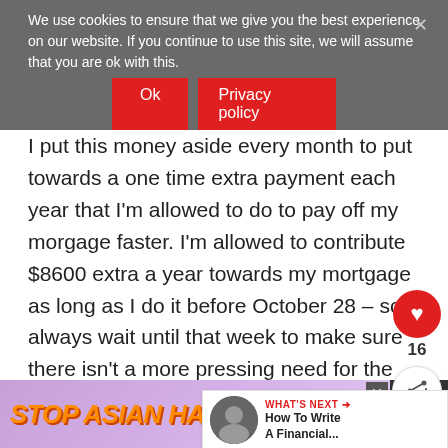month. So in looking at February: Housing: like every month I stayed under and put the extra money into savings.
We use cookies to ensure that we give you the best experience on our website. If you continue to use this site, we will assume that you are ok with this.
a one time extra payment each year that I'm allowed to do to pay off my morgage faster. I'm allowed to contribute $8600 extra a year towards my mortgage as long as I do it before October 28 – so I always wait until that week to make sure there isn't a more pressing need for the money.
If I am able to do this again this year I w... MORTGAGE FREE!
[Figure (screenshot): Cookie consent overlay with Ok and Privacy policy buttons over blurred article text]
[Figure (infographic): Social sidebar with heart/like button showing 16 likes and a share button]
[Figure (screenshot): What's Next widget showing How To Write A Financial... article]
[Figure (infographic): Stop Asian Hate advertisement banner at the bottom of the page]